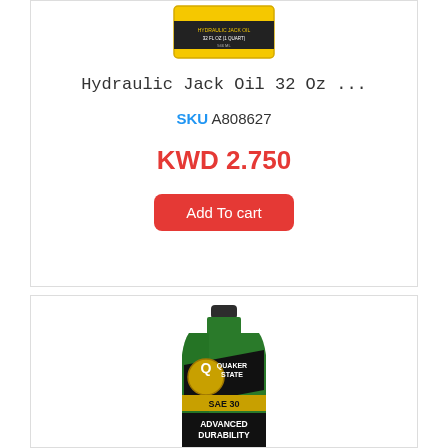[Figure (photo): Top portion of a yellow hydraulic jack oil bottle/container]
Hydraulic Jack Oil 32 Oz ...
SKU A808627
KWD 2.750
Add To cart
[Figure (photo): Quaker State SAE 30 Advanced Durability motor oil green bottle]